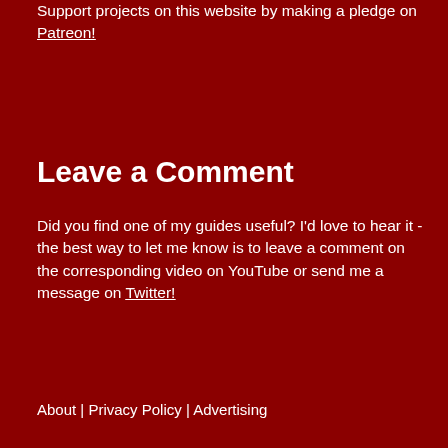Support projects on this website by making a pledge on Patreon!
Leave a Comment
Did you find one of my guides useful? I'd love to hear it - the best way to let me know is to leave a comment on the corresponding video on YouTube or send me a message on Twitter!
About | Privacy Policy | Advertising